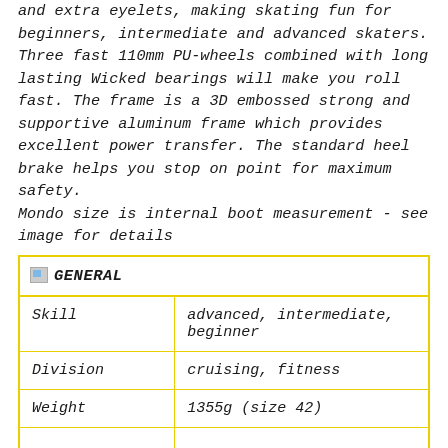and extra eyelets, making skating fun for beginners, intermediate and advanced skaters. Three fast 110mm PU-wheels combined with long lasting Wicked bearings will make you roll fast. The frame is a 3D embossed strong and supportive aluminum frame which provides excellent power transfer. The standard heel brake helps you stop on point for maximum safety. Mondo size is internal boot measurement - see image for details
| GENERAL |  |
| --- | --- |
| Skill | advanced, intermediate, beginner |
| Division | cruising, fitness |
| Weight | 1355g (size 42) |